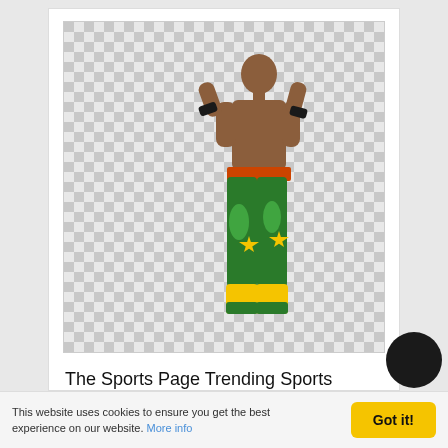[Figure (photo): A wrestler wearing colorful green and yellow patterned pants posed in a fighting stance, shown against a checkered transparency background]
The Sports Page Trending Sports
[Figure (photo): Second card with a checkered transparency background image (partially visible)]
This website uses cookies to ensure you get the best experience on our website. More info
Got it!